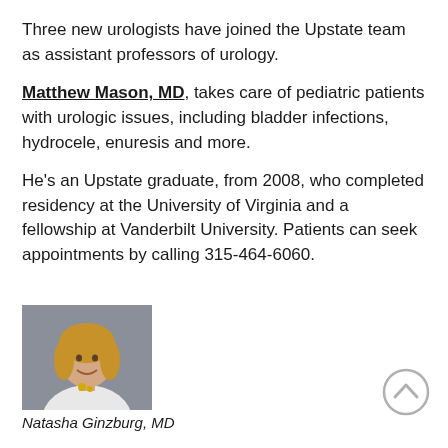Three new urologists have joined the Upstate team as assistant professors of urology.
Matthew Mason, MD, takes care of pediatric patients with urologic issues, including bladder infections, hydrocele, enuresis and more.
He’s an Upstate graduate, from 2008, who completed residency at the University of Virginia and a fellowship at Vanderbilt University. Patients can seek appointments by calling 315-464-6060.
[Figure (photo): Headshot of a woman with blonde hair wearing a white coat and necklace, smiling, against a gray background.]
Natasha Ginzburg, MD